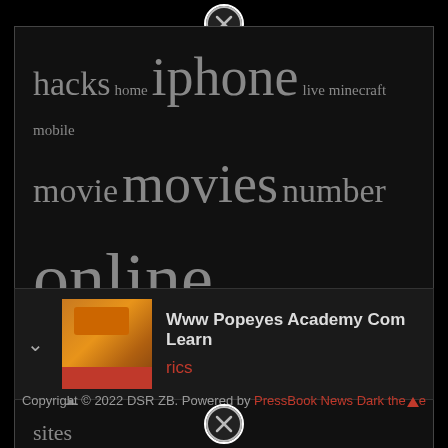[Figure (screenshot): Close button (X in circle) at top center of modal overlay]
hacks home iphone live minecraft mobile movie movies number online papa phone pokemon roblox script sites start stream unblocked watch what with without your
[Figure (photo): Popeyes restaurant exterior photo used as thumbnail]
Www Popeyes Academy Com Learn
rics
Copyright © 2022 DSR ZB. Powered by PressBook News Dark theme
[Figure (screenshot): Close button (X in circle) at bottom center of page]